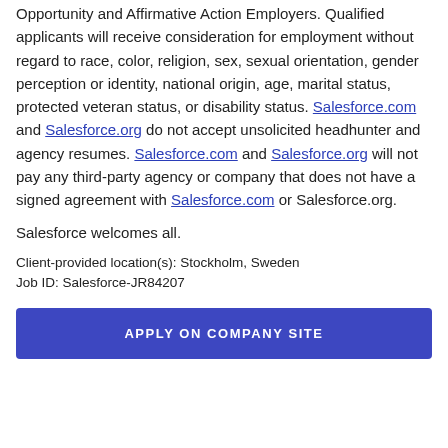Opportunity and Affirmative Action Employers. Qualified applicants will receive consideration for employment without regard to race, color, religion, sex, sexual orientation, gender perception or identity, national origin, age, marital status, protected veteran status, or disability status. Salesforce.com and Salesforce.org do not accept unsolicited headhunter and agency resumes. Salesforce.com and Salesforce.org will not pay any third-party agency or company that does not have a signed agreement with Salesforce.com or Salesforce.org.
Salesforce welcomes all.
Client-provided location(s): Stockholm, Sweden
Job ID: Salesforce-JR84207
APPLY ON COMPANY SITE